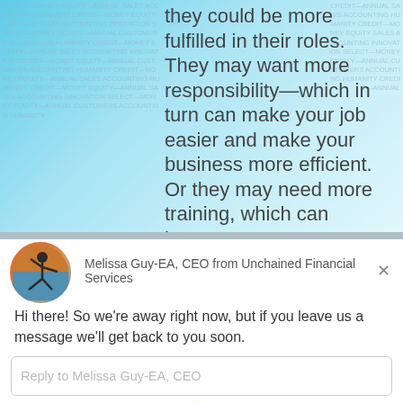they could be more fulfilled in their roles. They may want more responsibility—which in turn can make your job easier and make your business more efficient. Or they may need more training, which can improve your customer service. Offer professional development and opportunities for growth. Just as it's expensive to bring in new customers
[Figure (screenshot): Chat widget from Drift showing avatar of Melissa Guy-EA CEO from Unchained Financial Services with a message saying 'Hi there! So we're away right now, but if you leave us a message we'll get back to you soon.' and a reply input field.]
Melissa Guy-EA, CEO from Unchained Financial Services
Hi there! So we're away right now, but if you leave us a message we'll get back to you soon.
Reply to Melissa Guy-EA, CEO
Chat ⚡ by Drift